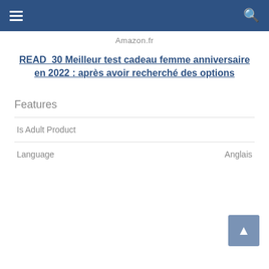Amazon.fr
READ  30 Meilleur test cadeau femme anniversaire en 2022: après avoir recherché des options
Features
|  |  |
| --- | --- |
| Is Adult Product |  |
| Language | Anglais |